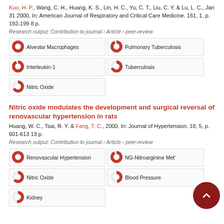Kuo, H. P., Wang, C. H., Huang, K. S., Lin, H. C., Yu, C. T., Liu, C. Y. & Lu, L. C., Jan 31 2000, In: American Journal of Respiratory and Critical Care Medicine. 161, 1, p. 192-199 8 p.
Research output: Contribution to journal › Article › peer-review
[Figure (infographic): Five keyword badges: Alveolar Macrophages (100%), Pulmonary Tuberculosis (~95%), Interleukin-1 (~95%), Tuberculosis (~70%), Nitric Oxide (~70%)]
Nitric oxide modulates the development and surgical reversal of renovascular hypertension in rats
Huang, W. C., Tsai, R. Y. & Fang, T. C., 2000, In: Journal of Hypertension. 18, 5, p. 601-613 13 p.
Research output: Contribution to journal › Article › peer-review
[Figure (infographic): Five keyword badges: Renovascular Hypertension (100%), NG-Nitroarginine Met... (~95%), Nitric Oxide (~65%), Blood Pressure (~50%), Kidney (~55%)]